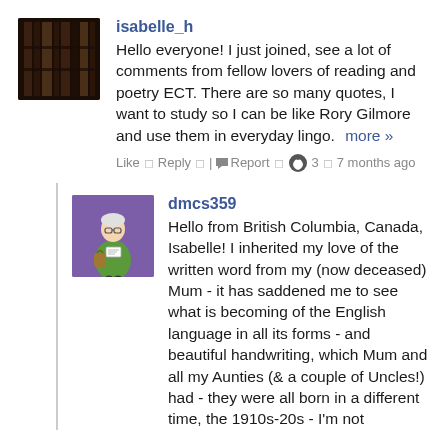[Figure (photo): Avatar image for user isabelle_h, dark brown bookshelf photo]
isabelle_h
Hello everyone! I just joined, see a lot of comments from fellow lovers of reading and poetry ECT. There are so many quotes, I want to study so I can be like Rory Gilmore and use them in everyday lingo.  more »
Like  Reply  |Report  3  7 months ago
[Figure (illustration): Avatar image for user dmcs359, cartoon illustration of an elderly woman in green coat on purple background]
dmcs359
Hello from British Columbia, Canada, Isabelle!  I inherited my love of the written word from my (now deceased) Mum - it has saddened me to see what is becoming of the English language in all its forms - and beautiful handwriting, which Mum and all my Aunties (& a couple of Uncles!) had - they were all born in a different time, the 1910s-20s - I'm not